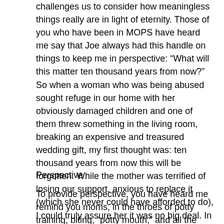challenges us to consider how meaningless things really are in light of eternity. Those of you who have been in MOPS have heard me say that Joe always had this handle on things to keep me in perspective: “What will this matter ten thousand years from now?” So when a woman who was being abused sought refuge in our home with her obviously damaged children and one of them threw something in the living room, breaking an expensive and treasured wedding gift, my first thought was: ten thousand years from now this will be forgotten. While the mother was terrified of losing our support, anxious to replace it (which she never could have afforded to do), I could truly assure her it was no big deal. In the light of her terrible circumstances, it was indeed trivial.
Perspective
To provide perspective, you have heard me remind you moms, in the throes of potty training, biting, “potty mouth,” and all the endless challenges of mothering preschoolers,